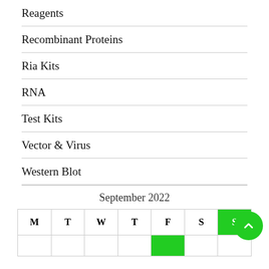Reagents
Recombinant Proteins
Ria Kits
RNA
Test Kits
Vector & Virus
Western Blot
September 2022
| M | T | W | T | F | S | S |
| --- | --- | --- | --- | --- | --- | --- |
|  |  |  |  |  |  |  |